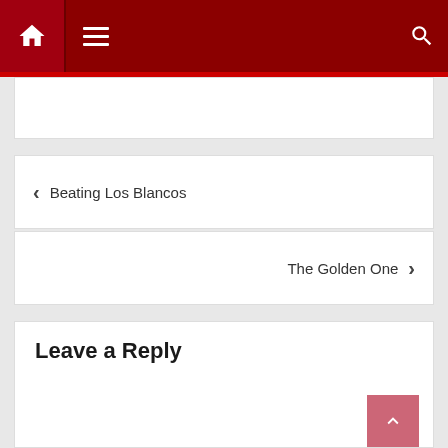Navigation bar with home, menu, and search icons
← Beating Los Blancos
The Golden One →
Leave a Reply